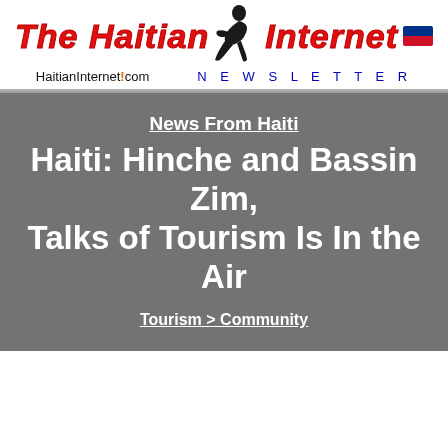The Haitian Internet NEWSLETTER — HaitianInternet.com
News From Haiti
Haiti: Hinche and Bassin Zim, Talks of Tourism Is In the Air
Tourism > Community